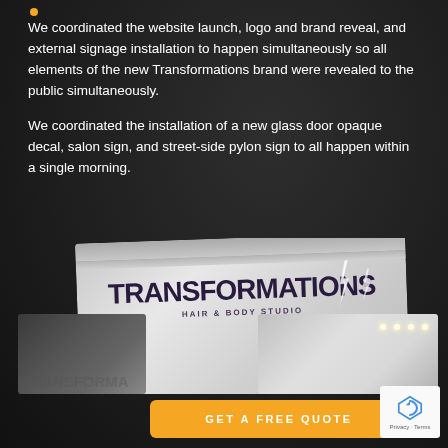We coordinated the website launch, logo and brand reveal, and external signage installation to happen simultaneously so all elements of the new Transformations brand were revealed to the public simultaneously.
We coordinated the installation of a new glass door opaque decal, salon sign, and street-side pylon sign to all happen within a single morning.
[Figure (photo): Photo of Transformations Hair & Body Studio salon sign - a large exterior sign with stylized text and lightning bolt graphic on a grey/silver background, along with partial views of other salon photos below]
GET A FREE QUOTE